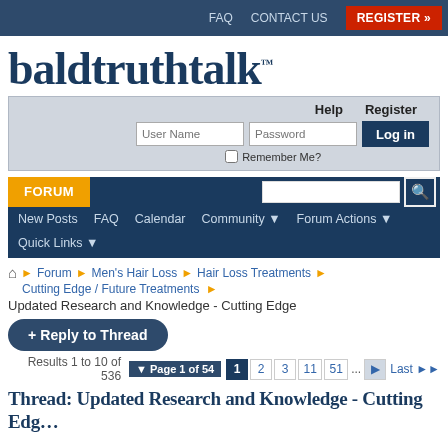FAQ  CONTACT US  REGISTER »
baldtruthtalk™
Help  Register  User Name  Password  Log in  Remember Me?
FORUM  New Posts  FAQ  Calendar  Community ▼  Forum Actions ▼  Quick Links ▼
Forum ❯ Men's Hair Loss ❯ Hair Loss Treatments ❯ Cutting Edge / Future Treatments ❯
Updated Research and Knowledge - Cutting Edge
+ Reply to Thread
Results 1 to 10 of 536  Page 1 of 54  1  2  3  11  51  ...  ▶  Last ▶▶
Thread: Updated Research and Knowledge - Cutting Edg…